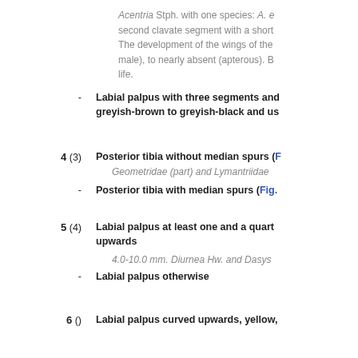Acentria Stph. with one species: A. e... second clavate segment with a short... The development of the wings of the... male), to nearly absent (apterous). B... life.
- Labial palpus with three segments and... greyish-brown to greyish-black and us...
4 (3) Posterior tibia without median spurs (F...
Geometridae (part) and Lymantriidae...
- Posterior tibia with median spurs (Fig....
5 (4) Labial palpus at least one and a quart... upwards
4.0-10.0 mm. Diurnea Hw. and Dasys...
- Labial palpus otherwise
6 () Labial palpus curved upwards, yellow,...